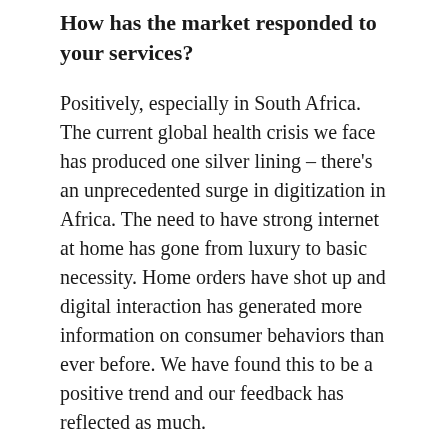How has the market responded to your services?
Positively, especially in South Africa. The current global health crisis we face has produced one silver lining – there's an unprecedented surge in digitization in Africa. The need to have strong internet at home has gone from luxury to basic necessity. Home orders have shot up and digital interaction has generated more information on consumer behaviors than ever before. We have found this to be a positive trend and our feedback has reflected as much.
In what direction will the company be going